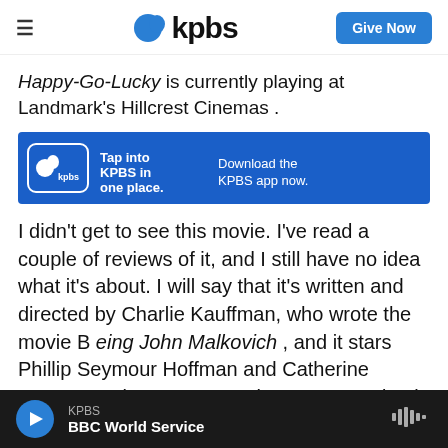KPBS — Give Now
Happy-Go-Lucky is currently playing at Landmark's Hillcrest Cinemas .
[Figure (infographic): KPBS app advertisement banner: blue background with KPBS logo, text 'Tap into KPBS in one place.' and 'Download the KPBS app now.']
I didn't get to see this movie. I've read a couple of reviews of it, and I still have no idea what it's about. I will say that it's written and directed by Charlie Kauffman, who wrote the movie B eing John Malkovich , and it stars Phillip Seymour Hoffman and Catherine Keener. So it's got some talent connected to it. But a lot of things happen in this
KPBS — BBC World Service